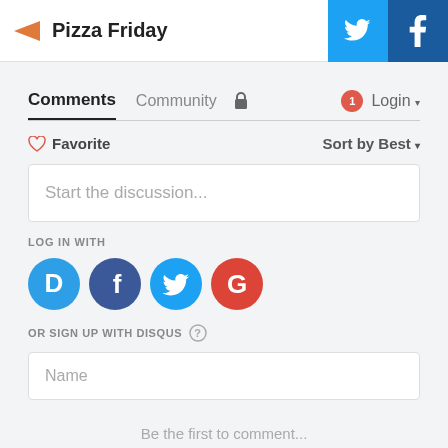Pizza Friday
Comments  Community  🔒  1  Login ▾
♡ Favorite    Sort by Best ▾
Start the discussion...
LOG IN WITH
[Figure (logo): Social login icons: Disqus (D), Facebook (f), Twitter bird, Google (G)]
OR SIGN UP WITH DISQUS ?
Name
Be the first to comment...